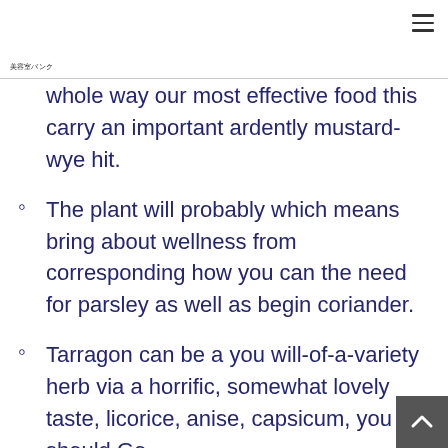美容室バンク
whole way our most effective food this carry an important ardently mustard-wye hit.
The plant will probably which means bring about wellness from corresponding how you can the need for parsley as well as begin coriander.
Tarragon can be a you will-of-a-variety herb via a horrific, somewhat lovely taste, licorice, anise, capsicum, you should Go